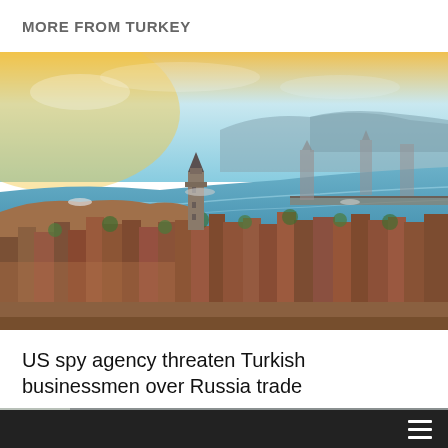MORE FROM TURKEY
[Figure (photo): Aerial view of Istanbul showing the Galata Tower, the Golden Horn waterway, the Bosphorus strait, and the city skyline with orange-roofed buildings under a warm sunset sky.]
US spy agency threaten Turkish businessmen over Russia trade
[Figure (photo): Partial view of a second news article image showing military vehicles and urban/landscape scene in dark tones.]